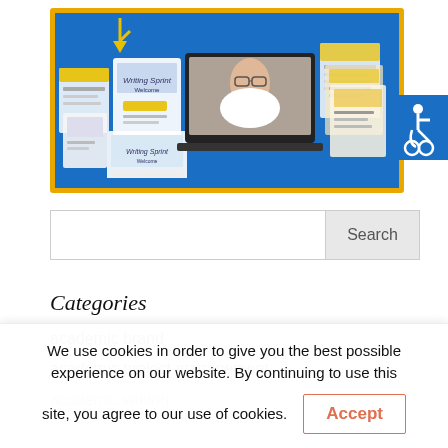[Figure (screenshot): Banner image showing a blue background with yellow border containing multiple device mockups (laptop, tablet, phone) displaying a writing sprint welcome screen, with a yellow arrow pointing down and a woman with glasses visible on a laptop screen.]
[Figure (illustration): Blue accessibility icon showing wheelchair symbol in white on blue background, positioned top right.]
Search
Categories
academic brand
academic project management
academic writing
We use cookies in order to give you the best possible experience on our website. By continuing to use this site, you agree to our use of cookies.
Accept